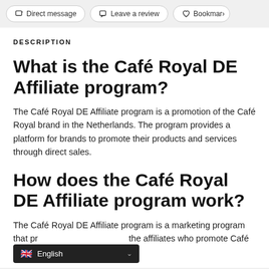Direct message | Leave a review | Bookmark
DESCRIPTION
What is the Café Royal DE Affiliate program?
The Café Royal DE Affiliate program is a promotion of the Café Royal brand in the Netherlands. The program provides a platform for brands to promote their products and services through direct sales.
How does the Café Royal DE Affiliate program work?
The Café Royal DE Affiliate program is a marketing program that pr... the affiliates who promote Café
English